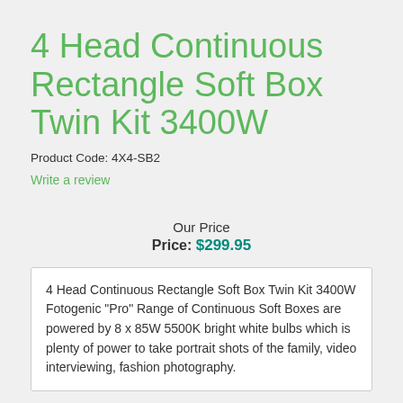4 Head Continuous Rectangle Soft Box Twin Kit 3400W
Product Code: 4X4-SB2
Write a review
Our Price
Price: $299.95
4 Head Continuous Rectangle Soft Box Twin Kit 3400W Fotogenic "Pro" Range of Continuous Soft Boxes are powered by 8 x 85W 5500K bright white bulbs which is plenty of power to take portrait shots of the family, video interviewing, fashion photography.